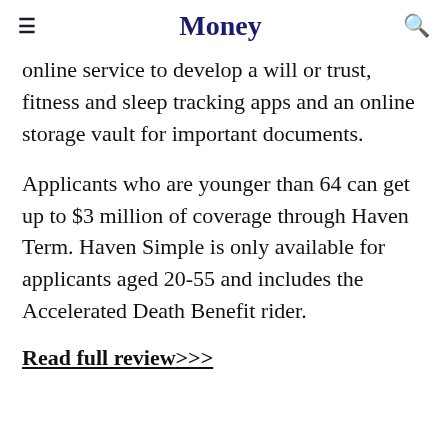Money
online service to develop a will or trust, fitness and sleep tracking apps and an online storage vault for important documents.
Applicants who are younger than 64 can get up to $3 million of coverage through Haven Term. Haven Simple is only available for applicants aged 20-55 and includes the Accelerated Death Benefit rider.
Read full review>>>